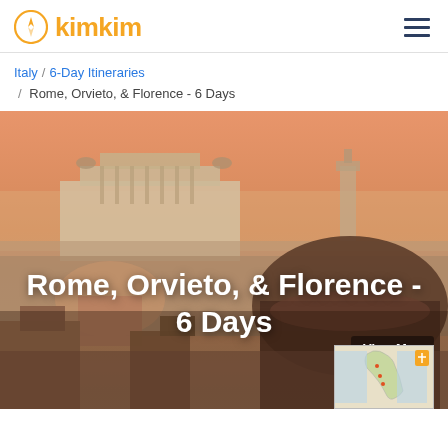kimkim
Italy / 6-Day Itineraries / Rome, Orvieto, & Florence - 6 Days
[Figure (photo): Panoramic view of Rome's rooftops and domes at sunset with warm orange sky, with overlaid title text 'Rome, Orvieto, & Florence - 6 Days' and a 'View Map' button with a small map thumbnail in the bottom-right corner.]